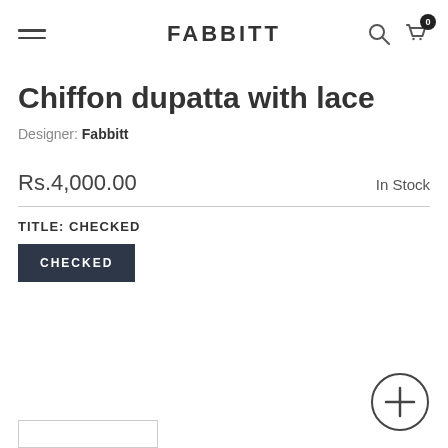FABBITT
Chiffon dupatta with lace
Designer: Fabbitt
Rs.4,000.00   In Stock
TITLE: CHECKED
CHECKED